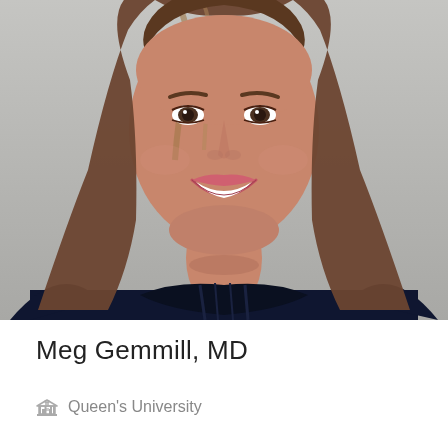[Figure (photo): Professional headshot of a smiling woman with long brown hair, wearing a dark navy blue top, against a light gray background.]
Meg Gemmill, MD
Queen's University